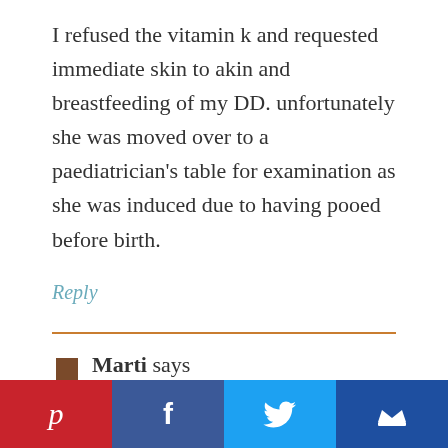I refused the vitamin k and requested immediate skin to akin and breastfeeding of my DD. unfortunately she was moved over to a paediatrician's table for examination as she was induced due to having pooed before birth.
Reply
Marti says
March 20, 2013 at 2:02 pm